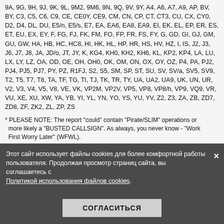9A, 9G, 9H, 9J, 9K, 9L, 9M2, 9M6, 9N, 9Q, 9V, 9Y, A4, A6, A7, A9, AP, BV, BY, C3, C5, C6, C9, CE, CE0Y, CE9, CM, CN, CP, CT, CT3, CU, CX, CY0, D2, D4, DL, DU, E5/n, E5/s, E7, EA, EA6, EA8, EA9, EI, EK, EL, EP, ER, ES, ET, EU, EX, EY, F, FG, FJ, FK, FM, FO, FP, FR, FS, FY, G, GD, GI, GJ, GM, GU, GW, HA, HB, HC, HC8, HI, HK, HL, HP, HR, HS, HV, HZ, I, IS, J2, J3, J6, J7, J8, JA, JD/o, JT, JY, K, KG4, KH0, KH2, KH6, KL, KP2, KP4, LA, LU, LX, LY, LZ, OA, OD, OE, OH, OH0, OK, OM, ON, OX, OY, OZ, P4, PA, PJ2, PJ4, PJ5, PJ7, PY, PZ, R1FJ, S2, S5, SM, SP, ST, SU, SV, SV/a, SV5, SV9, T2, T5, T7, T8, TA, TF, TG, TI, TJ, TK, TR, TY, UA, UA2, UA9, UK, UN, UR, V2, V3, V4, V5, V8, VE, VK, VP2M, VP2V, VP5, VP8, VP8/h, VP9, VQ9, VR, VU, XE, XU, XW, YA, YB, YI, YL, YN, YO, YS, YU, YV, Z2, Z3, ZA, ZB, ZD7, ZD8, ZF, ZK2, ZL, ZP, ZS
* PLEASE NOTE: The report "could" contain "Pirate/SLIM" operations or more likely a "BUSTED CALLSIGN". As always, you never know - "Work First Worry Later" (WFWL).
5K, COLOMBIA. Siso, HK3W, will use the special callsign 5K3W during the CQWW DX CW Contest (November 26-27th) as a Single-Op/All-Band/Low-Power entry. QSL via LoTW ONLY.
5Z, KENYA (Reminder). Sigi, DL7DF, will be on holiday with his XYL Sabine in Kenya between November 23rd and December 6th. He plans to be active as 5Z4HW and operate on all bands, 160-10 meters using CW, SBB, RTTY, PSK31 and SSTV as often as possible. The location is the Diani Beach at the coastline of Kenyanear Mombasa. QSL via his home callsign, direct or by the DARC Bureau. For more details and updates, visit: http://www.dl7df.com/5z/index.html
6O, SOMALIA (On Cancelled/Change of Plans). Darko, J28AA/E70A, who was expected to be active as 6O0DX from Somalia between November 21-30th... Darko will now be active during the CQWW DX CW Contest (November 26-27th) from Djibouti as a 10 meters/QRP entry.
8Q, MALDIVES. Operators Bert/CX... R will be active as 8Q7HU from Maafushi Island, Kaafu Atoll (AS-U13), between January 25th
Этот сайт использует файлы cookies для более комфортной работы пользователя. Продолжая просмотр страниц сайта, вы соглашаетесь с Политикой использования файлов cookies.
СОГЛАСИТЬСЯ